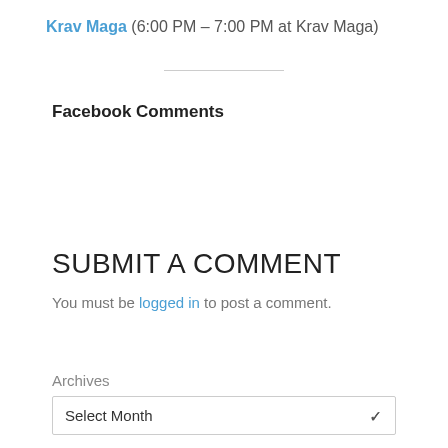Krav Maga (6:00 PM – 7:00 PM at Krav Maga)
Facebook Comments
SUBMIT A COMMENT
You must be logged in to post a comment.
Archives
Select Month